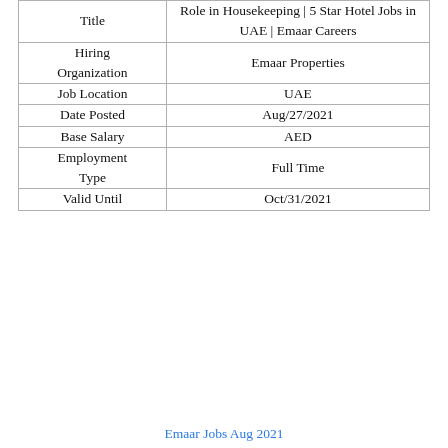| Title | Role in Housekeeping | 5 Star Hotel Jobs in UAE | Emaar Careers |
| --- | --- |
| Hiring Organization | Emaar Properties |
| Job Location | UAE |
| Date Posted | Aug/27/2021 |
| Base Salary | AED |
| Employment Type | Full Time |
| Valid Until | Oct/31/2021 |
Emaar Jobs Aug 2021